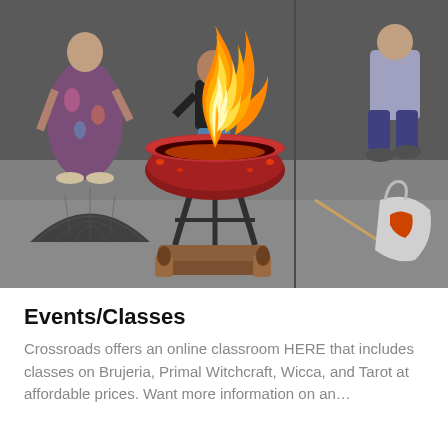[Figure (photo): Outdoor scene showing a fire burning in a red bowl-shaped fire pit on a metal stand. Firewood logs are stacked beneath. A dome-shaped metal screen sits on the concrete nearby. A person in a colorful floral dress stands to the left, and a child in a black shirt stands behind the fire pit. Another person sits in the background on the right. A shopping bag and stick are visible on the right side.]
Events/Classes
Crossroads offers an online classroom HERE that includes classes on Brujeria, Primal Witchcraft, Wicca, and Tarot at affordable prices. Want more information on an…